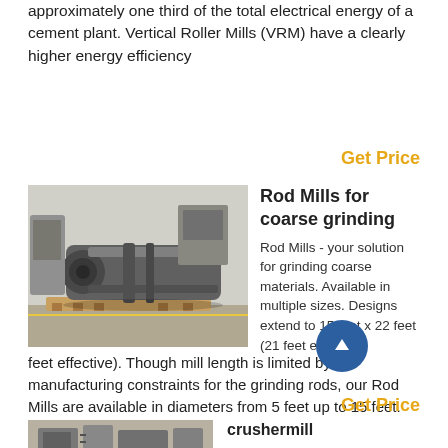approximately one third of the total electrical energy of a cement plant. Vertical Roller Mills (VRM) have a clearly higher energy efficiency
Get Price
[Figure (photo): Industrial rod mill machine photographed in a factory/warehouse setting, showing a large cylindrical grey metal grinding mill on wooden pallets]
Rod Mills for coarse grinding
Rod Mills - your solution for grinding coarse materials. Available in multiple sizes. Designs extend to 15 feet x 22 feet (21 feet effective). Though mill length is limited by manufacturing constraints for the grinding rods, our Rod Mills are available in diameters from 5 feet up to 15 feet.
Get Price
[Figure (photo): Industrial crusher mill machinery photographed in a factory setting]
crushermill